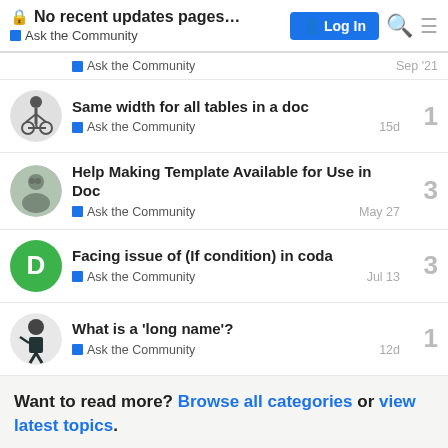No recent updates pages… | Ask the Community | Log In
Ask the Community — Sep '21
Same width for all tables in a doc | Ask the Community | 1 reply | 15d
Help Making Template Available for Use in Doc | Ask the Community | 3 replies | May 27
Facing issue of (If condition) in coda | Ask the Community | 3 replies | Jul 13
What is a 'long name'? | Ask the Community | 1 reply | 12d
Want to read more? Browse all categories or view latest topics.